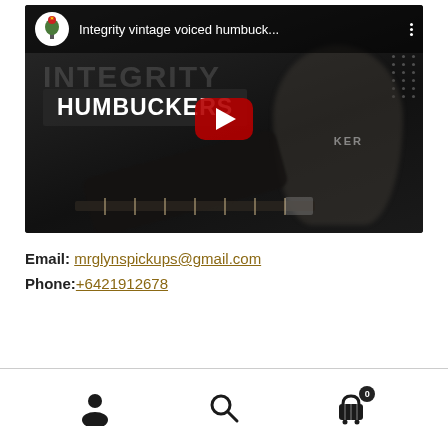[Figure (screenshot): YouTube video thumbnail showing a guitarist playing a dark guitar with 'INTEGRITY HUMBUCKERS' text overlay. Video title: 'Integrity vintage voiced humbuck...' with channel avatar and play button.]
Email: mrglynspickups@gmail.com
Phone: +6421912678